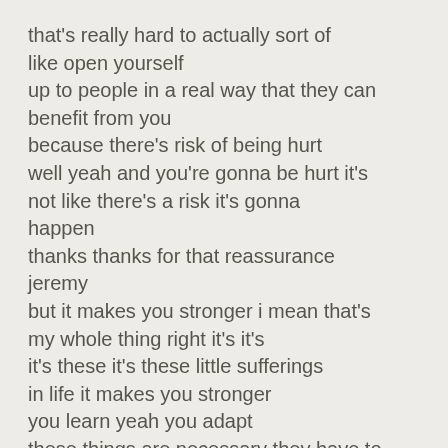that's really hard to actually sort of like open yourself up to people in a real way that they can benefit from you because there's risk of being hurt well yeah and you're gonna be hurt it's not like there's a risk it's gonna happen thanks thanks for that reassurance jeremy but it makes you stronger i mean that's my whole thing right it's it's it's these it's these little sufferings in life it makes you stronger you learn yeah you adapt these things are necessary they have to happen for us to become better people and more importantly better for each other you know what's the worst of all of this